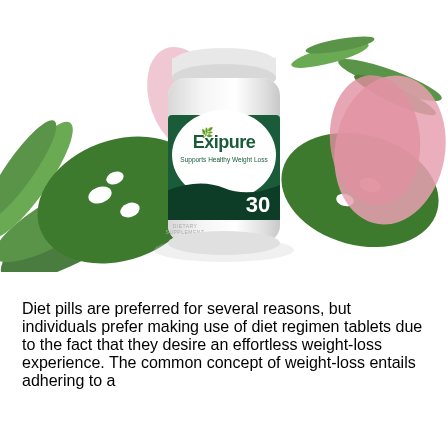[Figure (photo): Exipure dietary supplement bottle (30 capsules) labeled 'Supports Healthy Weight Loss', surrounded by tropical green leaves, pink flower petals, on a white background.]
Diet pills are preferred for several reasons, but individuals prefer making use of diet regimen tablets due to the fact that they desire an effortless weight-loss experience. The common concept of weight-loss entails adhering to a